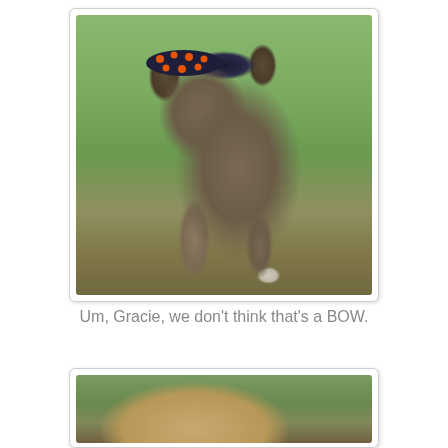[Figure (photo): A large dog (German Shepherd-type or wolf hybrid) wearing a dark bandana/headband with orange polka dots on its head, standing outdoors on grass and dirt ground, head bowed down]
Um, Gracie, we don't think that's a BOW.
[Figure (photo): Partial view of a large dog outdoors on grass and dirt ground, only the back/rump area visible]